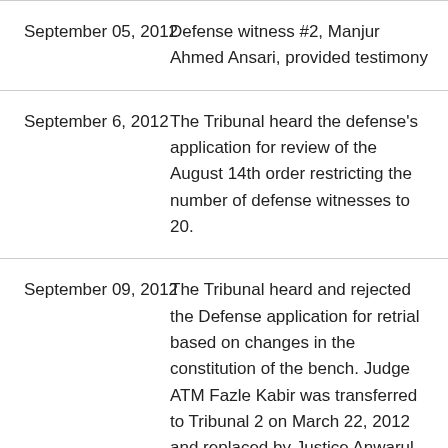| Date | Event |
| --- | --- |
| September 05, 2012 | Defense witness #2, Manjur Ahmed Ansari, provided testimony |
| September 6, 2012 | The Tribunal heard the defense's application for review of the August 14th order restricting the number of defense witnesses to 20. |
| September 09, 2012 | The Tribunal heard and rejected the Defense application for retrial based on changes in the constitution of the bench. Judge ATM Fazle Kabir was transferred to Tribunal 2 on March 22, 2012 and replaced by Justice Anwarul Haque.  On August 28, 2012 Judge AKM Zahir Ahmed resigned from the Tribunal and was |